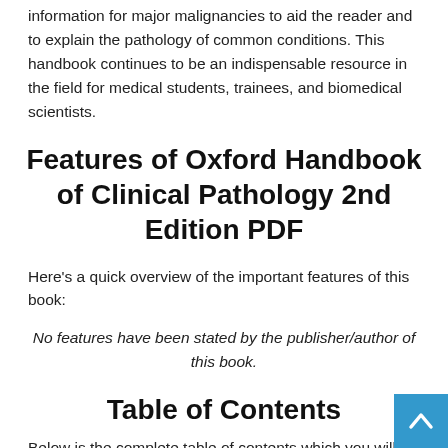information for major malignancies to aid the reader and to explain the pathology of common conditions. This handbook continues to be an indispensable resource in the field for medical students, trainees, and biomedical scientists.
Features of Oxford Handbook of Clinical Pathology 2nd Edition PDF
Here's a quick overview of the important features of this book:
No features have been stated by the publisher/author of this book.
Table of Contents
Below is the complete table of contents which you will be able